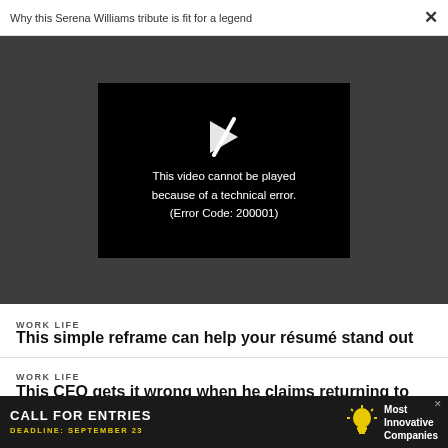Why this Serena Williams tribute is fit for a legend
[Figure (screenshot): Video player showing error message: 'This video cannot be played because of a technical error. (Error Code: 200001)' on black background with broken play icon, set on dark gray backdrop.]
WORK LIFE
This simple reframe can help your résumé stand out
WORK LIFE
This CEO gets it wrong when he claims returning to...
[Figure (infographic): Advertisement banner: 'CALL FOR ENTRIES' with lightbulb icon and 'Most Innovative Companies', deadline September 23, dark background with yellow text.]